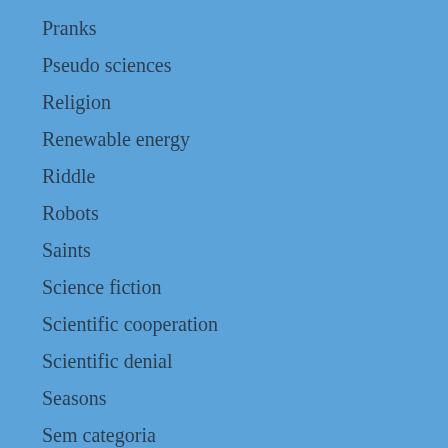Pranks
Pseudo sciences
Religion
Renewable energy
Riddle
Robots
Saints
Science fiction
Scientific cooperation
Scientific denial
Seasons
Sem categoria
Semantic ambiguity
Skiing